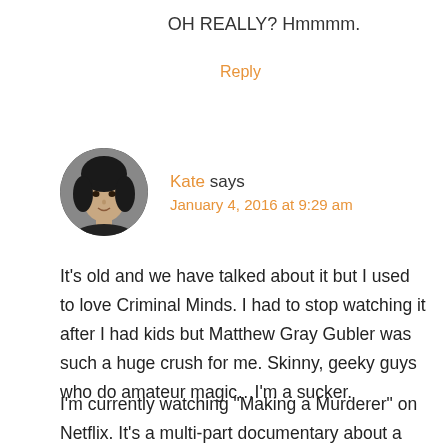OH REALLY? Hmmmm.
Reply
[Figure (photo): Circular avatar photo of a woman with dark hair, black and white]
Kate says
January 4, 2016 at 9:29 am
It’s old and we have talked about it but I used to love Criminal Minds. I had to stop watching it after I had kids but Matthew Gray Gubler was such a huge crush for me. Skinny, geeky guys who do amateur magic…I’m a sucker.
I’m currently watching “Making a Murderer” on Netflix. It’s a multi-part documentary about a man